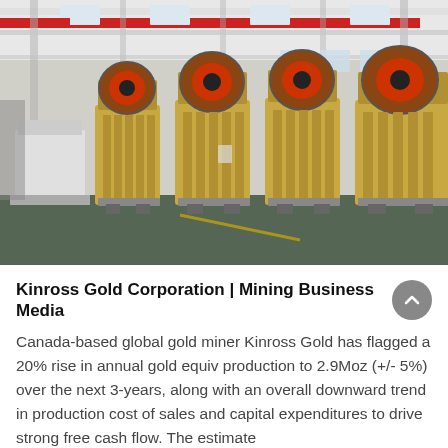[Figure (photo): Industrial factory interior showing a row of large yellow jaw crusher machines lined up on a concrete floor, with a red overhead crane, steel framework, skylights, and industrial equipment in the background.]
Kinross Gold Corporation | Mining Business Media
Canada-based global gold miner Kinross Gold has flagged a 20% rise in annual gold equiv production to 2.9Moz (+/- 5%) over the next 3-years, along with an overall downward trend in production cost of sales and capital expenditures to drive strong free cash flow. The estimate